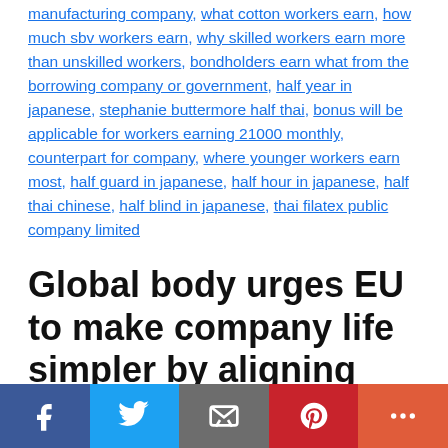manufacturing company, what cotton workers earn, how much sbv workers earn, why skilled workers earn more than unskilled workers, bondholders earn what from the borrowing company or government, half year in japanese, stephanie buttermore half thai, bonus will be applicable for workers earning 21000 monthly, counterpart for company, where younger workers earn most, half guard in japanese, half hour in japanese, half thai chinese, half blind in japanese, thai filatex public company limited
Global body urges EU to make company life simpler by aligning climate reporting
[Figure (other): Social media share buttons bar: Facebook (blue), Twitter (light blue), Email (grey), Pinterest (red), More (orange-red)]